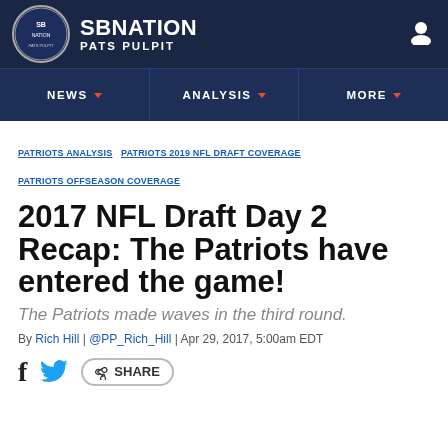SB NATION / PATS PULPIT
NEWS   ANALYSIS   MORE
PATRIOTS ANALYSIS  PATRIOTS 2019 NFL DRAFT COVERAGE  PATRIOTS OFFSEASON COVERAGE
2017 NFL Draft Day 2 Recap: The Patriots have entered the game!
The Patriots made waves in the third round.
By Rich Hill | @PP_Rich_Hill | Apr 29, 2017, 5:00am EDT
SHARE